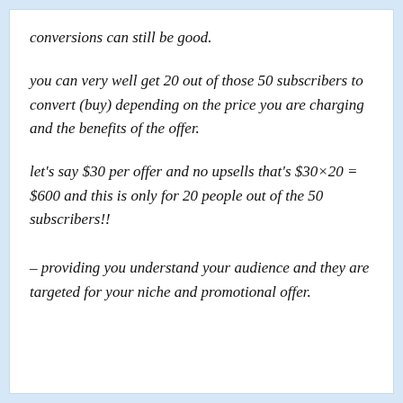conversions can still be good.
you can very well get 20 out of those 50 subscribers to convert (buy) depending on the price you are charging and the benefits of the offer.
let's say $30 per offer and no upsells that's $30×20 = $600 and this is only for 20 people out of the 50 subscribers!!
– providing you understand your audience and they are targeted for your niche and promotional offer.